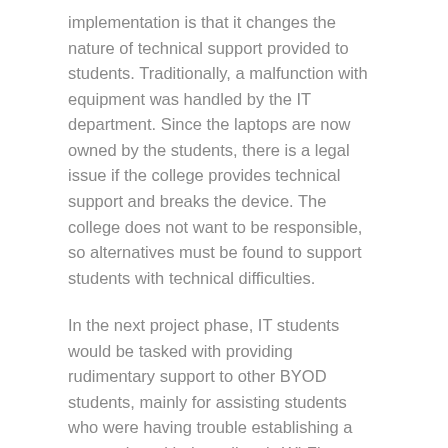implementation is that it changes the nature of technical support provided to students. Traditionally, a malfunction with equipment was handled by the IT department. Since the laptops are now owned by the students, there is a legal issue if the college provides technical support and breaks the device. The college does not want to be responsible, so alternatives must be found to support students with technical difficulties.
In the next project phase, IT students would be tasked with providing rudimentary support to other BYOD students, mainly for assisting students who were having trouble establishing a connection with the college's Wi-Fi network. The IT students were told not to do maintenance work on the computers. Rather, students with these issues were asked to bring their computer to an authorized external technician.